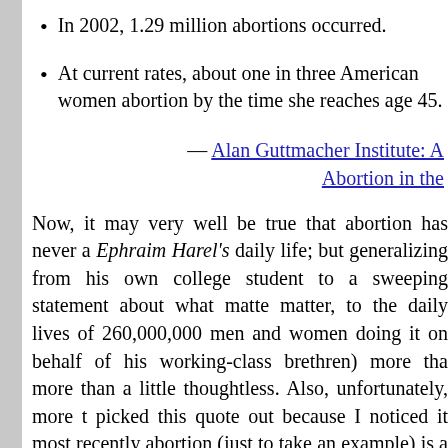In 2002, 1.29 million abortions occurred.
At current rates, about one in three American women abortion by the time she reaches age 45.
— Alan Guttmacher Institute: A Abortion in the
Now, it may very well be true that abortion has never a Ephraim Harel's daily life; but generalizing from his own college student to a sweeping statement about what matte matter, to the daily lives of 260,000,000 men and women doing it on behalf of his working-class brethren) more tha more than a little thoughtless. Also, unfortunately, more t picked this quote out because I noticed it most recently abortion (just to take an example) is a merely "cultural" iss the material lives of "ordinary" Americans — and so ought side-stepped, or ignored — has become all too popular in s "Progressive" movement. (Hello, Kos.) It might just lead male "Progressives" think of as "ordinary", and what they t made of, if not of people's daily lives. It might also leave y impression that women's "daily lives" just don't matter.